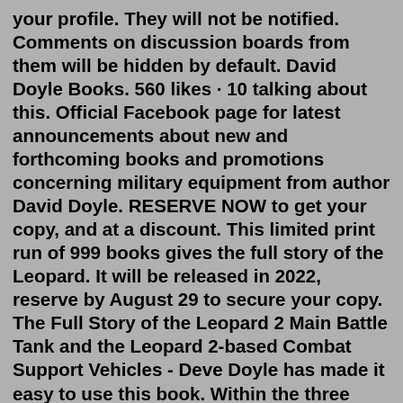your profile. They will not be notified. Comments on discussion boards from them will be hidden by default. David Doyle Books. 560 likes · 10 talking about this. Official Facebook page for latest announcements about new and forthcoming books and promotions concerning military equipment from author David Doyle. RESERVE NOW to get your copy, and at a discount. This limited print run of 999 books gives the full story of the Leopard. It will be released in 2022, reserve by August 29 to secure your copy. The Full Story of the Leopard 2 Main Battle Tank and the Leopard 2-based Combat Support Vehicles - Deve Doyle has made it easy to use this book. Within the three categories, he has organized the subjects according to size. Vehicles are identified by the Standard Nomenclature List (SNL) that begin with the letter "G" ("G-number") rather than the more popular -- but slightly more con-fusing -- "M" number (For example, an "M1" might refer to a tank ... Nov 19, 2020 · By: Brian Doyle, David James Doyle, reference and Nenotable, Group Number